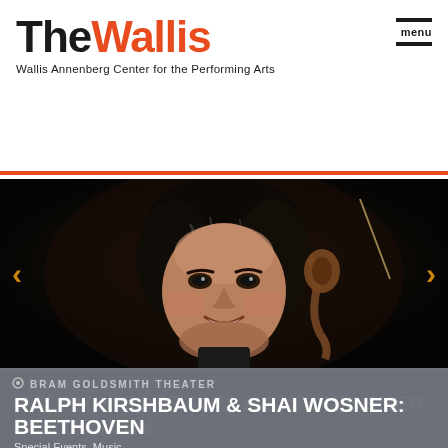The Wallis — Wallis Annenberg Center for the Performing Arts
[Figure (photo): Black and white promotional photo of Ralph Kirshbaum holding a cello, smiling, against a dark background]
BRAM GOLDSMITH THEATER
RALPH KIRSHBAUM & SHAI WOSNER: BEETHOVEN
Special Events, Music
Mar 09 - 10